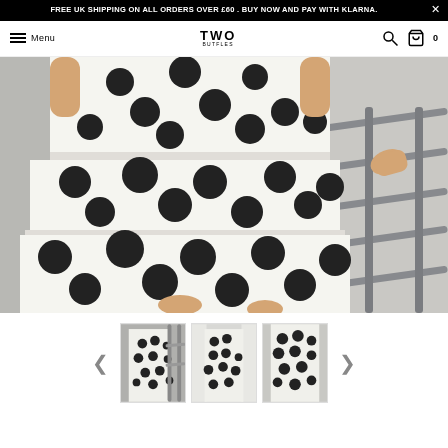FREE UK SHIPPING ON ALL ORDERS OVER £60 . BUY NOW AND PAY WITH KLARNA.
Menu | TWO BUTFLES | 0
[Figure (photo): Woman wearing a white dress with large black polka dots, standing near a grey metal railing. Cropped from waist to mid-thigh. The dress has a tiered/layered skirt.]
[Figure (photo): Thumbnail 1: Full length view of woman in white polka dot dress standing near railing]
[Figure (photo): Thumbnail 2: Woman in white polka dot dress standing near curtains]
[Figure (photo): Thumbnail 3: Close-up of woman in white polka dot dress]